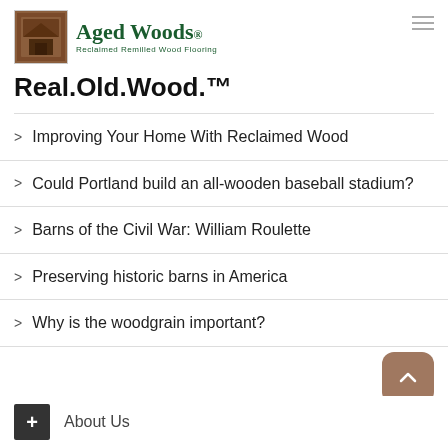[Figure (logo): Aged Woods logo with brown image box and green brand name text 'Aged Woods' with tagline 'Reclaimed Reclaimed Wood Flooring']
Real.Old.Wood.™
Improving Your Home With Reclaimed Wood
Could Portland build an all-wooden baseball stadium?
Barns of the Civil War: William Roulette
Preserving historic barns in America
Why is the woodgrain important?
About Us